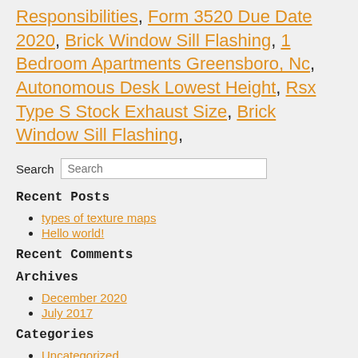Responsibilities, Form 3520 Due Date 2020, Brick Window Sill Flashing, 1 Bedroom Apartments Greensboro, Nc, Autonomous Desk Lowest Height, Rsx Type S Stock Exhaust Size, Brick Window Sill Flashing,
Search
Recent Posts
types of texture maps
Hello world!
Recent Comments
Archives
December 2020
July 2017
Categories
Uncategorized